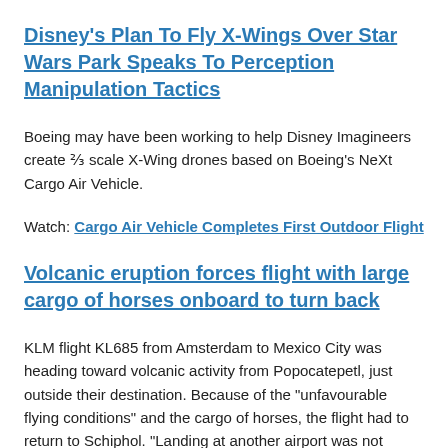Disney's Plan To Fly X-Wings Over Star Wars Park Speaks To Perception Manipulation Tactics
Boeing may have been working to help Disney Imagineers create ⅔ scale X-Wing drones based on Boeing's NeXt Cargo Air Vehicle.
Watch: Cargo Air Vehicle Completes First Outdoor Flight
Volcanic eruption forces flight with large cargo of horses onboard to turn back
KLM flight KL685 from Amsterdam to Mexico City was heading toward volcanic activity from Popocatepetl, just outside their destination. Because of the "unfavourable flying conditions" and the cargo of horses, the flight had to return to Schiphol. "Landing at another airport was not possible, because of the visa requirements of passengers and as there